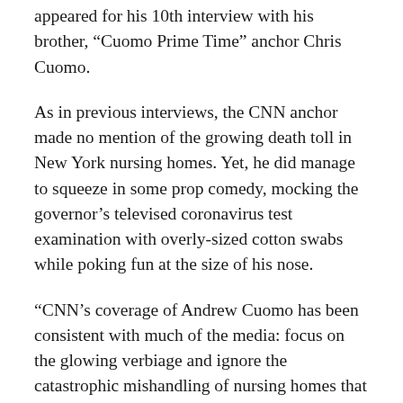appeared for his 10th interview with his brother, “Cuomo Prime Time” anchor Chris Cuomo.
As in previous interviews, the CNN anchor made no mention of the growing death toll in New York nursing homes. Yet, he did manage to squeeze in some prop comedy, mocking the governor’s televised coronavirus test examination with overly-sized cotton swabs while poking fun at the size of his nose.
“CNN’s coverage of Andrew Cuomo has been consistent with much of the media: focus on the glowing verbiage and ignore the catastrophic mishandling of nursing homes that led to thousands of deaths,” Cornell Law School professor and media critic William A. Jacobson told Fox News.